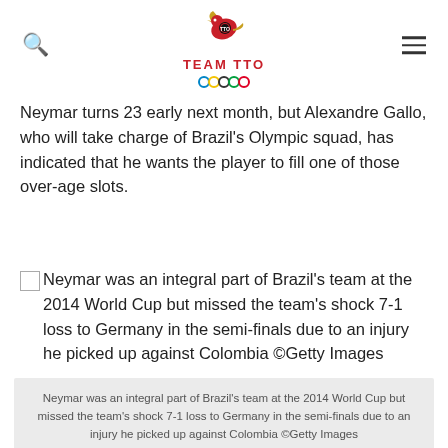[Figure (logo): Team TTO Olympic logo with bird and Olympic rings]
Neymar turns 23 early next month, but Alexandre Gallo, who will take charge of Brazil's Olympic squad, has indicated that he wants the player to fill one of those over-age slots.
Neymar was an integral part of Brazil's team at the 2014 World Cup but missed the team's shock 7-1 loss to Germany in the semi-finals due to an injury he picked up against Colombia ©Getty Images
Neymar was an integral part of Brazil's team at the 2014 World Cup but missed the team's shock 7-1 loss to Germany in the semi-finals due to an injury he picked up against Colombia ©Getty Images
Neymar, who was in the Brazil squad that claimed the silver medals